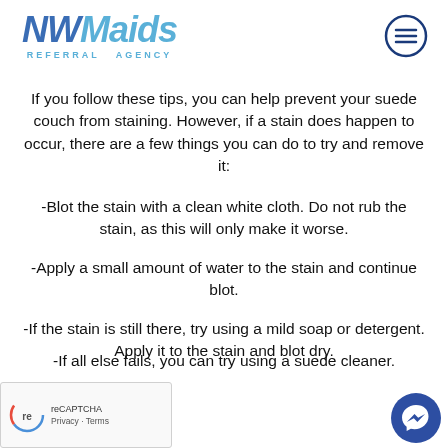NWMaids Referral Agency
If you follow these tips, you can help prevent your suede couch from staining. However, if a stain does happen to occur, there are a few things you can do to try and remove it:
-Blot the stain with a clean white cloth. Do not rub the stain, as this will only make it worse.
-Apply a small amount of water to the stain and continue blot.
-If the stain is still there, try using a mild soap or detergent. Apply it to the stain and blot dry.
-If all else fails, you can try using a suede cleaner.